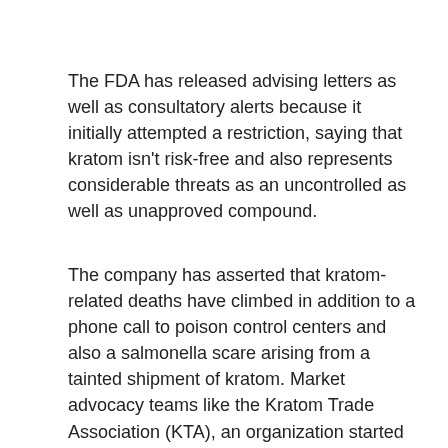The FDA has released advising letters as well as consultatory alerts because it initially attempted a restriction, saying that kratom isn't risk-free and also represents considerable threats as an uncontrolled as well as unapproved compound.
The company has asserted that kratom-related deaths have climbed in addition to a phone call to poison control centers and also a salmonella scare arising from a tainted shipment of kratom. Market advocacy teams like the Kratom Trade Association (KTA), an organization started by business owner and ethnobotanical specialist Sebastian Guthery, have actually signed up with forces